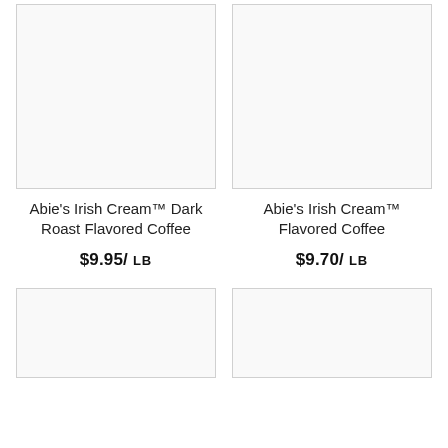[Figure (photo): Product image placeholder for Abie's Irish Cream Dark Roast Flavored Coffee, top-left]
[Figure (photo): Product image placeholder for Abie's Irish Cream Flavored Coffee, top-right]
Abie's Irish Cream™ Dark Roast Flavored Coffee
$9.95/ LB
Abie's Irish Cream™ Flavored Coffee
$9.70/ LB
[Figure (photo): Product image placeholder, bottom-left]
[Figure (photo): Product image placeholder, bottom-right]